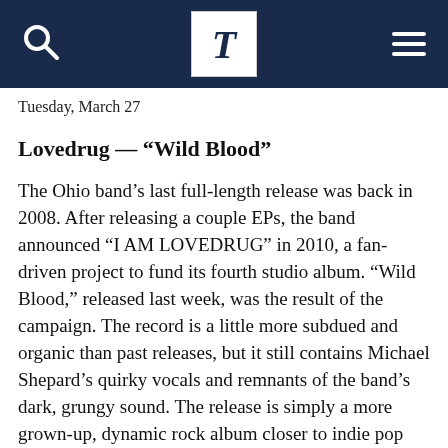T
Tuesday, March 27
Lovedrug — “Wild Blood”
The Ohio band’s last full-length release was back in 2008. After releasing a couple EPs, the band announced “I AM LOVEDRUG” in 2010, a fan-driven project to fund its fourth studio album. “Wild Blood,” released last week, was the result of the campaign. The record is a little more subdued and organic than past releases, but it still contains Michael Shepard’s quirky vocals and remnants of the band’s dark, grungy sound. The release is simply a more grown-up, dynamic rock album closer to indie pop than the past two records.